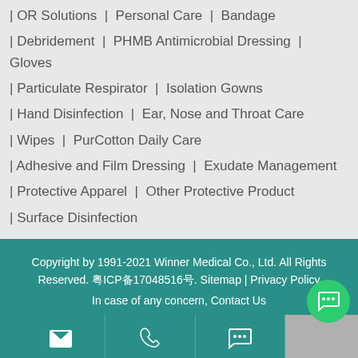| OR Solutions | Personal Care | Bandage
| Debridement | PHMB Antimicrobial Dressing | Gloves
| Particulate Respirator | Isolation Gowns
| Hand Disinfection | Ear, Nose and Throat Care
| Wipes | PurCotton Daily Care
| Adhesive and Film Dressing | Exudate Management
| Protective Apparel | Other Protective Product
| Surface Disinfection
Copyright by 1991-2021 Winner Medical Co., Ltd. All Rights Reserved. 粤ICP备17048516号. Sitemap | Privacy Policy
In case of any concern, Contact Us